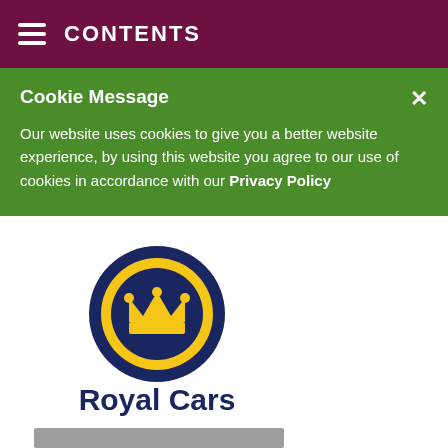CONTENTS
Cookie Message
Our website uses cookies to give you a better website experience, by using this website you agree to our use of cookies in accordance with our Privacy Policy
[Figure (logo): Royal Cars logo — circular dark navy badge with gold crown, text 'Royal Cars' in dark navy below, tagline 'Keeping Oxfordshire Moving' in olive/dark yellow below that]